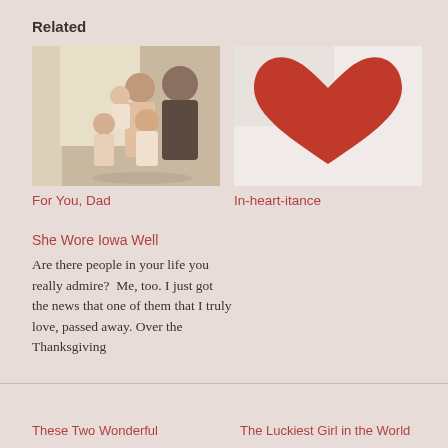Related
[Figure (photo): Family photo: a man and woman with several young children posed together indoors near a window]
For You, Dad
[Figure (photo): Close-up photo of a large red heart shape on a white/light background]
In-heart-itance
She Wore Iowa Well
Are there people in your life you really admire?  Me, too. I just got the news that one of them that I truly love, passed away. Over the Thanksgiving
These Two Wonderful
The Luckiest Girl in the World